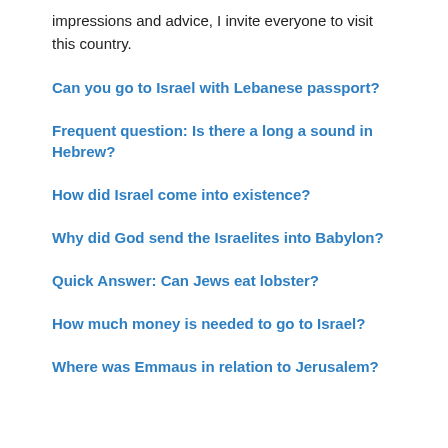impressions and advice, I invite everyone to visit this country.
Can you go to Israel with Lebanese passport?
Frequent question: Is there a long a sound in Hebrew?
How did Israel come into existence?
Why did God send the Israelites into Babylon?
Quick Answer: Can Jews eat lobster?
How much money is needed to go to Israel?
Where was Emmaus in relation to Jerusalem?